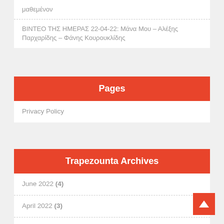μαθεμένον
ΒΙΝΤΕΟ ΤΗΣ ΗΜΕΡΑΣ 22-04-22: Μάνα Μου – Αλέξης Παρχαρίδης – Φάνης Κουρουκλίδης
Pages
Privacy Policy
Trapezounta Archives
June 2022 (4)
April 2022 (3)
March 2022 (1)